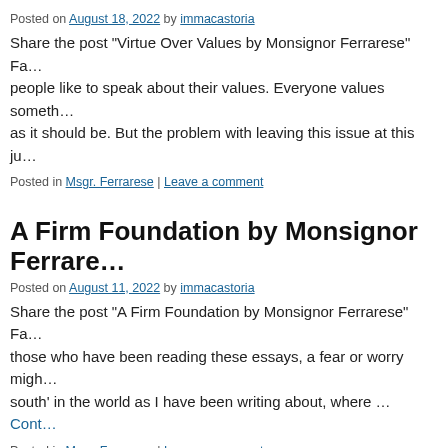Posted on August 18, 2022 by immacastoria
Share the post “Virtue Over Values by Monsignor Ferrarese” Fa… people like to speak about their values. Everyone values someth… as it should be. But the problem with leaving this issue at this ju…
Posted in Msgr. Ferrarese | Leave a comment
A Firm Foundation by Monsignor Ferrarese
Posted on August 11, 2022 by immacastoria
Share the post “A Firm Foundation by Monsignor Ferrarese” Fa… those who have been reading these essays, a fear or worry migh… south’ in the world as I have been writing about, where … Cont…
Posted in Msgr. Ferrarese | Leave a comment
Reasons for Hope by Monsignor Ferrarese
Posted on August 4, 2022 by immacastoria